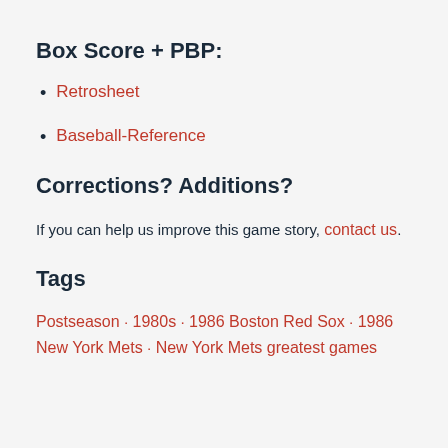Box Score + PBP:
Retrosheet
Baseball-Reference
Corrections? Additions?
If you can help us improve this game story, contact us.
Tags
Postseason · 1980s · 1986 Boston Red Sox · 1986 New York Mets · New York Mets greatest games